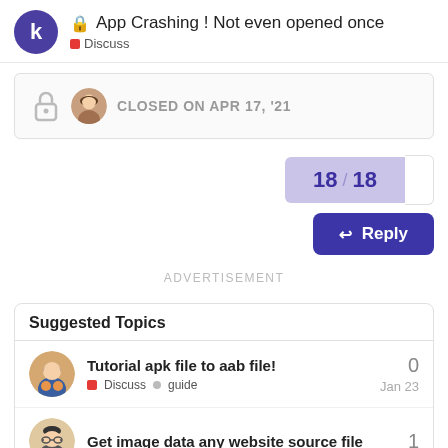App Crashing ! Not even opened once — Discuss
CLOSED ON APR 17, '21
18 / 18
Reply
ADVERTISEMENT
Suggested Topics
Tutorial apk file to aab file! — Discuss · guide — 0 — Jan 23
Get image data any website source file — 1